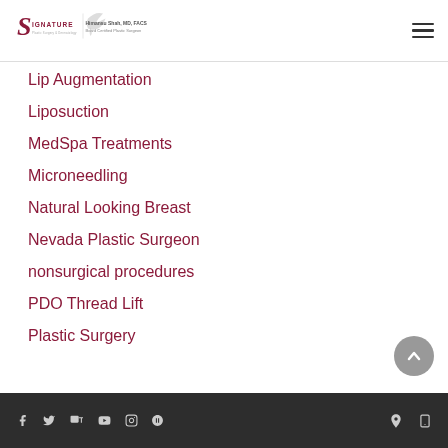Signature Plastic Surgery & Dermatology — Himansu Shah, MD, FACS — Board Certified Plastic Surgeon
Lip Augmentation
Liposuction
MedSpa Treatments
Microneedling
Natural Looking Breast
Nevada Plastic Surgeon
nonsurgical procedures
PDO Thread Lift
Plastic Surgery
Social media icons: Facebook, Twitter, Google+, YouTube, Instagram, Yelp; Location and Phone icons